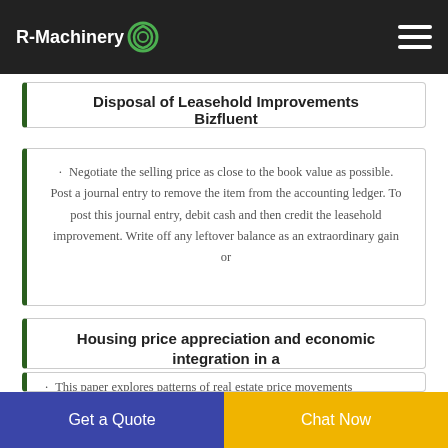R-Machinery
Disposal of Leasehold Improvements Bizfluent
· Negotiate the selling price as close to the book value as possible. Post a journal entry to remove the item from the accounting ledger. To post this journal entry, debit cash and then credit the leasehold improvement. Write off any leftover balance as an extraordinary gain or
Housing price appreciation and economic integration in a
· This paper explores patterns of real estate price movements
Get a Quote
Chat Now